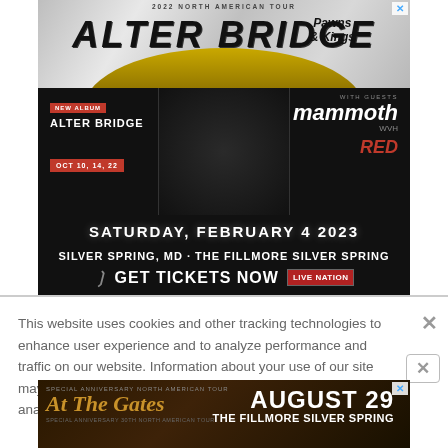[Figure (illustration): Alter Bridge 2022 North American Tour concert advertisement. Dark background with marble top section. Band name 'ALTER BRIDGE' in large gothic letters. Subtitle 'Pawns & Kings'. New album badge and date OCT 10, 14, 22. With guests Mammoth WVH and RED. Event: Saturday, February 4 2023, Silver Spring, MD - The Fillmore Silver Spring. GET TICKETS NOW with Live Nation logo.]
This website uses cookies and other tracking technologies to enhance user experience and to analyze performance and traffic on our website. Information about your use of our site may also be shared with social media, advertising, retail and analytics providers and partners.  Privacy Policy
[Figure (illustration): At The Gates concert advertisement. August 29 at The Fillmore Silver Spring. Brown/dark background with band logo.]